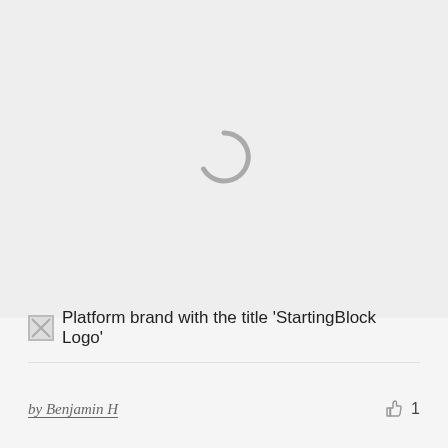[Figure (other): Loading spinner icon (gray arc/circle) centered in a light gray area, indicating content is loading]
Platform brand with the title 'StartingBlock Logo'
by Benjamin H
1